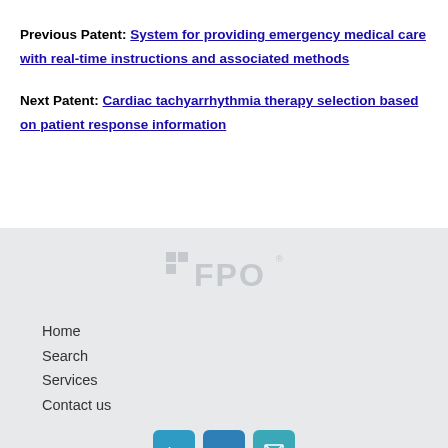Previous Patent: System for providing emergency medical care with real-time instructions and associated methods
Next Patent: Cardiac tachyarrhythmia therapy selection based on patient response information
[Figure (logo): FPO logo in light gray on a light gray background, in the footer section]
Home
Search
Services
Contact us
[Figure (illustration): Three social media icon buttons: Twitter (t), LinkedIn (in), and Email/envelope icons in teal/blue rounded squares]